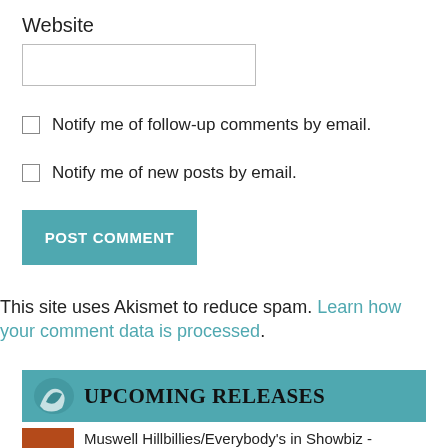Website
Notify me of follow-up comments by email.
Notify me of new posts by email.
POST COMMENT
This site uses Akismet to reduce spam. Learn how your comment data is processed.
UPCOMING RELEASES
Muswell Hillbillies/Everybody's in Showbiz -